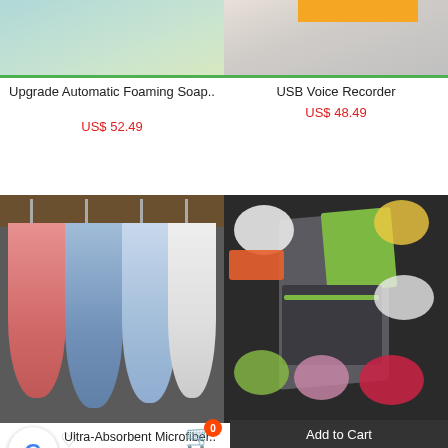[Figure (photo): Automatic foaming soap dispenser product image]
[Figure (photo): USB Voice Recorder product image with orange banner]
Upgrade Automatic Foaming Soap..
US$ 52.49
USB Voice Recorder
US$ 48.49
[Figure (photo): Colorful hanging microfiber towels in pink, blue and white on hooks against dark background]
[Figure (photo): Multifunctional vegetable slicer/chopper with various sliced vegetables in bowls]
Ultra-Absorbent Microfiber..
US$ 26.97
Upgrade Multifunctional Vegetable..
Add to Cart